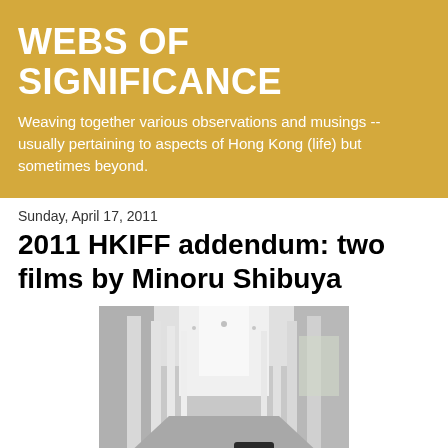WEBS OF SIGNIFICANCE
Weaving together various observations and musings -- usually pertaining to aspects of Hong Kong (life) but sometimes beyond.
Sunday, April 17, 2011
2011 HKIFF addendum: two films by Minoru Shibuya
[Figure (photo): Interior corridor or hallway with tall white columns/pillars, people walking in the background, shot from behind in muted gray tones]